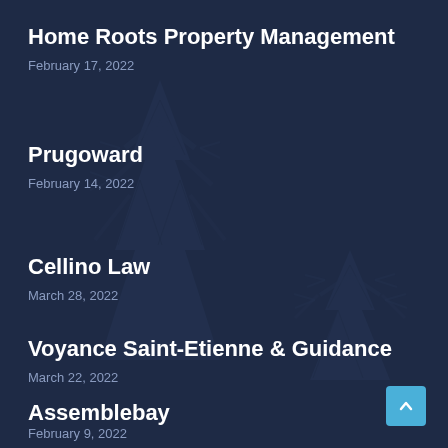Home Roots Property Management
February 17, 2022
Prugoward
February 14, 2022
Cellino Law
March 28, 2022
Voyance Saint-Etienne & Guidance
March 22, 2022
Assemblebay
February 9, 2022